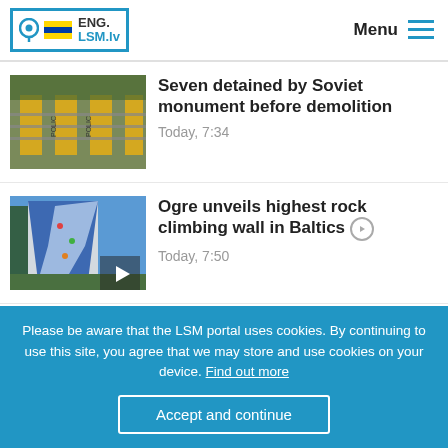ENG. LSM.lv | Menu
[Figure (photo): Yellow police barrier pillars with metal fence in front of trees]
Seven detained by Soviet monument before demolition
Today, 7:34
[Figure (photo): Rock climbing wall covered with blue tarpaulin, video play icon overlay]
Ogre unveils highest rock climbing wall in Baltics
Today, 7:50
[Figure (photo): Agricultural harvester in a golden wheat field]
European Commission approves €10 million agricultural support
Please be aware that the LSM portal uses cookies. By continuing to use this site, you agree that we may store and use cookies on your device. Find out more
Accept and continue